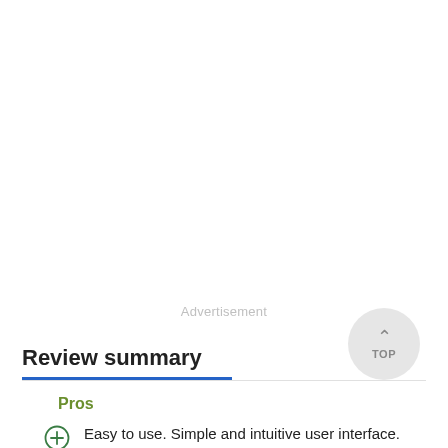Advertisement
Review summary
Pros
Easy to use. Simple and intuitive user interface. Offers multiple recovery possibilities. Great value for